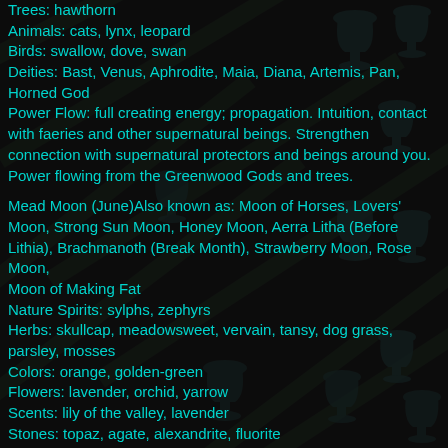Trees: hawthorn
Animals: cats, lynx, leopard
Birds: swallow, dove, swan
Deities: Bast, Venus, Aphrodite, Maia, Diana, Artemis, Pan, Horned God
Power Flow: full creating energy; propagation. Intuition, contact with faeries and other supernatural beings. Strengthen connection with supernatural protectors and beings around you. Power flowing from the Greenwood Gods and trees.
Mead Moon (June)Also known as: Moon of Horses, Lovers' Moon, Strong Sun Moon, Honey Moon, Aerra Litha (Before Lithia), Brachmanoth (Break Month), Strawberry Moon, Rose Moon, Moon of Making Fat
Nature Spirits: sylphs, zephyrs
Herbs: skullcap, meadowsweet, vervain, tansy, dog grass, parsley, mosses
Colors: orange, golden-green
Flowers: lavender, orchid, yarrow
Scents: lily of the valley, lavender
Stones: topaz, agate, alexandrite, fluorite
Trees: oak
Animals: monkey, butterfly, frog, toad
Birds: wren, peacock
Deities: Aine of Knockaine, Isis, Neith, Green Man, Cerridwen